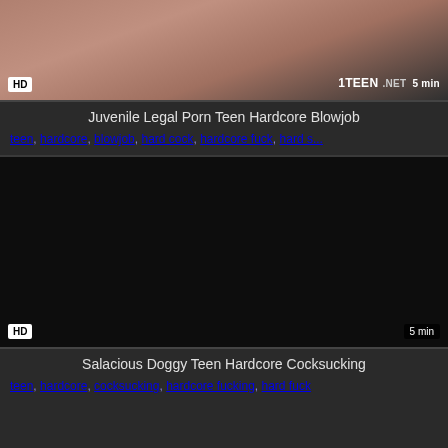[Figure (screenshot): Video thumbnail showing partial image with HD badge bottom-left and 1TEEN.NET watermark with 5 min duration badge bottom-right]
Juvenile Legal Porn Teen Hardcore Blowjob
teen, hardcore, blowjob, hard cock, hardcore fuck, hard s...
[Figure (screenshot): Dark/black video thumbnail with HD badge bottom-left and 5 min badge bottom-right]
Salacious Doggy Teen Hardcore Cocksucking
teen, hardcore, cocksucking, hardcore fucking, hard fuck